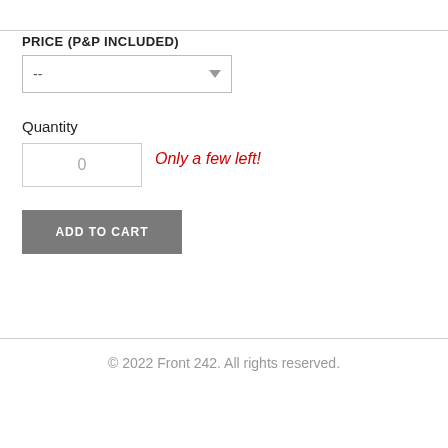PRICE (P&P INCLUDED)
--
Quantity
0
Only a few left!
ADD TO CART
© 2022 Front 242. All rights reserved.